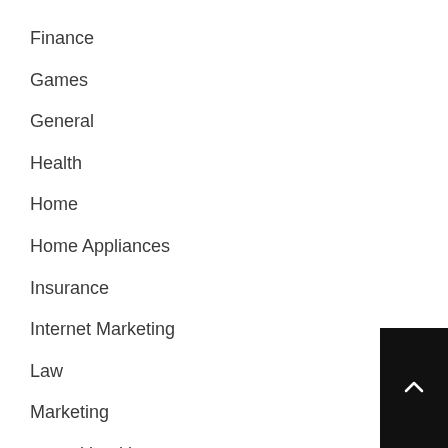Finance
Games
General
Health
Home
Home Appliances
Insurance
Internet Marketing
Law
Marketing
mental health